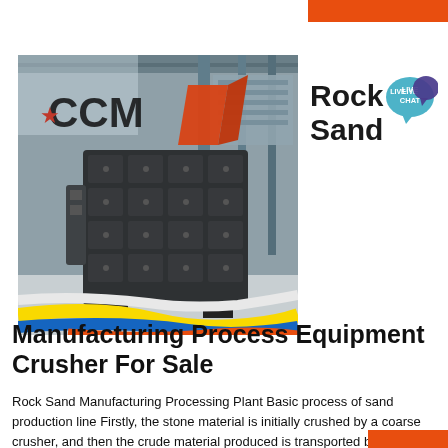[Figure (photo): Industrial impact crusher machine (CCM branded) inside a large factory/warehouse setting with colorful pipes on the floor]
[Figure (logo): Rock Sand text logo with a teal Live Chat speech bubble icon]
Manufacturing Process Equipment Crusher For Sale
Rock Sand Manufacturing Processing Plant Basic process of sand production line Firstly, the stone material is initially crushed by a coarse crusher, and then the crude material produced is transported by a belt conveyor to a fine crusher for further crushing, and the